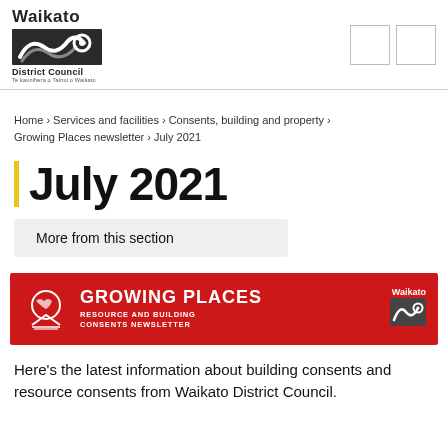Waikato District Council
Home › Services and facilities › Consents, building and property › Growing Places newsletter › July 2021
July 2021
More from this section
[Figure (infographic): Growing Places Resource and Building Consents Newsletter banner with Waikato District Council logo on red background]
Here's the latest information about building consents and resource consents from Waikato District Council.